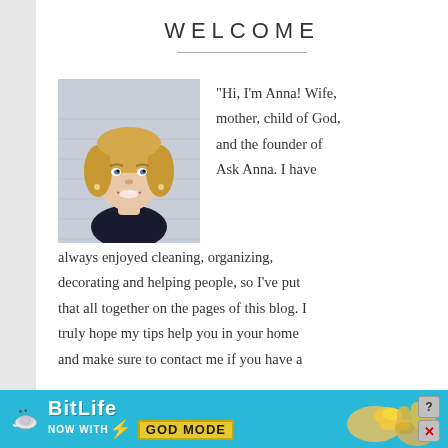WELCOME
[Figure (photo): Headshot photo of a smiling blonde woman with a short bob haircut, wearing a dark top, photographed against a light background]
"Hi, I'm Anna! Wife, mother, child of God, and the founder of Ask Anna. I have always enjoyed cleaning, organizing, decorating and helping people, so I've put that all together on the pages of this blog. I truly hope my tips help you in your home and make sure to contact me if you have a
[Figure (screenshot): BitLife advertisement banner — NOW WITH GOD MODE — with snail logo, lightning bolt, thumb pointing right, and help/close buttons]